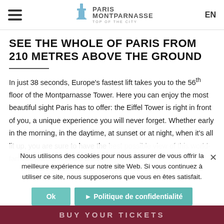Paris Montparnasse — Top of the City | EN
SEE THE WHOLE OF PARIS FROM 210 METRES ABOVE THE GROUND
In just 38 seconds, Europe's fastest lift takes you to the 56th floor of the Montparnasse Tower. Here you can enjoy the most beautiful sight Paris has to offer: the Eiffel Tower is right in front of you, a unique experience you will never forget. Whether early in the morning, in the daytime, at sunset or at night, when it's all lit up, you are sure to have the best possible view of this world-famous jewel in Paris's crown.
Nous utilisons des cookies pour nous assurer de vous offrir la meilleure expérience sur notre site Web. Si vous continuez à utiliser ce site, nous supposerons que vous en êtes satisfait.
Ok | Politique de confidentialité